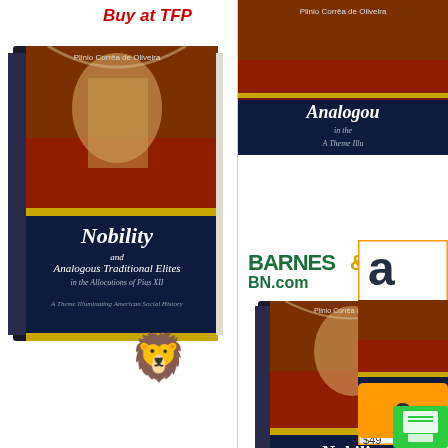Buy at TFP
[Figure (photo): Book cover of 'Nobility and Analogous Traditional Elites in the Allocutions of Pius XII - A Theme Illuminating American Social History' shown for purchase at TFP]
[Figure (photo): Partial book cover visible in top right corner]
[Figure (logo): Barnes & Noble BN.com logo]
[Figure (photo): Book cover of 'Nobility and Analogous Traditional Elites' shown for Barnes & Noble]
[Figure (logo): Amazon logo with book listing showing Nobility and Analogous Traditional Elites for $49]
[Figure (illustration): Golden heraldic lion emblem (TFP logo)]